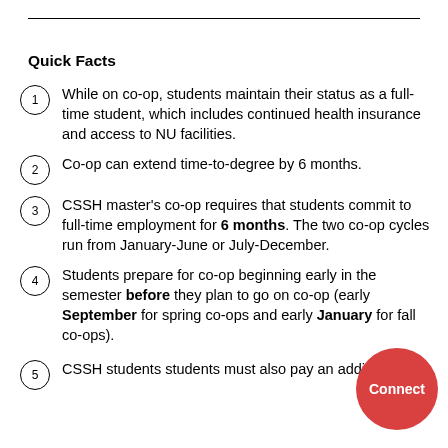Quick Facts
While on co-op, students maintain their status as a full-time student, which includes continued health insurance and access to NU facilities.
Co-op can extend time-to-degree by 6 months.
CSSH master's co-op requires that students commit to full-time employment for 6 months. The two co-op cycles run from January-June or July-December.
Students prepare for co-op beginning early in the semester before they plan to go on co-op (early September for spring co-ops and early January for fall co-ops).
CSSH students students must also pay an additional...